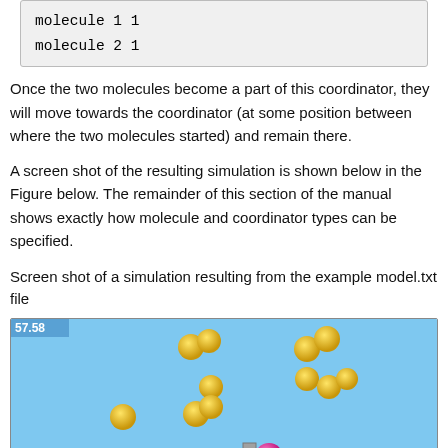molecule 1 1
molecule 2 1
Once the two molecules become a part of this coordinator, they will move towards the coordinator (at some position between where the two molecules started) and remain there.
A screen shot of the resulting simulation is shown below in the Figure below. The remainder of this section of the manual shows exactly how molecule and coordinator types can be specified.
Screen shot of a simulation resulting from the example model.txt file
[Figure (screenshot): Simulation screenshot showing yellow molecule spheres scattered on a light blue background, with a pink/magenta molecule and a small grey square near the bottom center. The number 57.58 appears in the top left corner. There is an arrow pointing toward the pink molecule.]